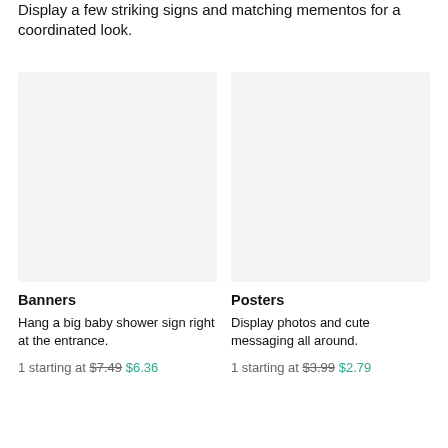Display a few striking signs and matching mementos for a coordinated look.
[Figure (photo): Product image placeholder for Banners - light gray background]
Banners
Hang a big baby shower sign right at the entrance.
1 starting at $7.49 $6.36
[Figure (photo): Product image placeholder for Posters - light gray background]
Posters
Display photos and cute messaging all around.
1 starting at $3.99 $2.79